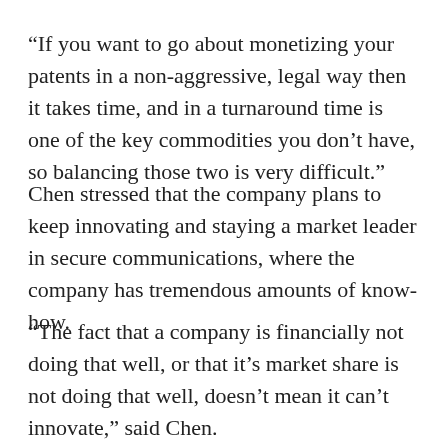“If you want to go about monetizing your patents in a non-aggressive, legal way then it takes time, and in a turnaround time is one of the key commodities you don’t have, so balancing those two is very difficult.”
Chen stressed that the company plans to keep innovating and staying a market leader in secure communications, where the company has tremendous amounts of know-how.
“The fact that a company is financially not doing that well, or that it’s market share is not doing that well, doesn’t mean it can’t innovate,” said Chen.